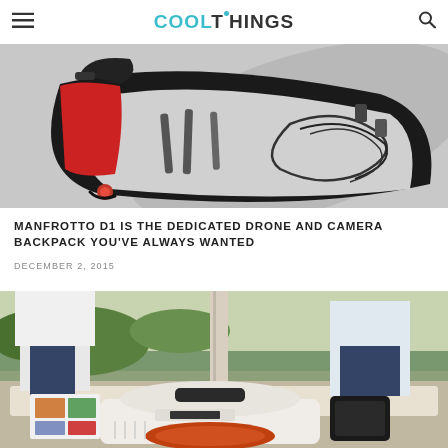COOLTHINGS
[Figure (photo): Manfrotto D1 drone and camera backpack open, showing interior compartments with straps and cables, grey interior, black and red exterior.]
MANFROTTO D1 IS THE DEDICATED DRONE AND CAMERA BACKPACK YOU'VE ALWAYS WANTED
DECEMBER 2, 2015
[Figure (photo): Outdoor scene with a person sitting near an Ooni portable pizza oven on a table, with a pizza inside, outdoors in a garden setting.]